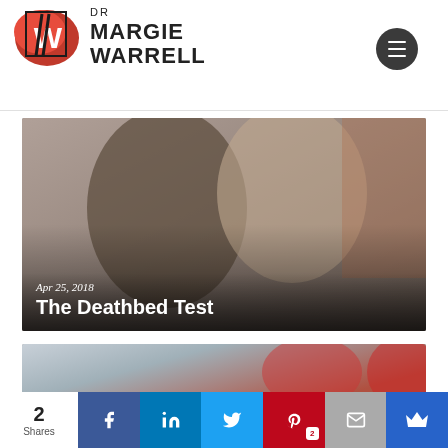[Figure (logo): Dr Margie Warrell logo with red brush stroke W mark and text]
[Figure (photo): Two women smiling closely together, photo overlaid with date Apr 25, 2018 and title The Deathbed Test]
Apr 25, 2018
The Deathbed Test
[Figure (photo): Partial photo of person(s) at bottom of page]
2 Shares — social share bar with Facebook, LinkedIn, Twitter, Pinterest (2), Email, Crown icons